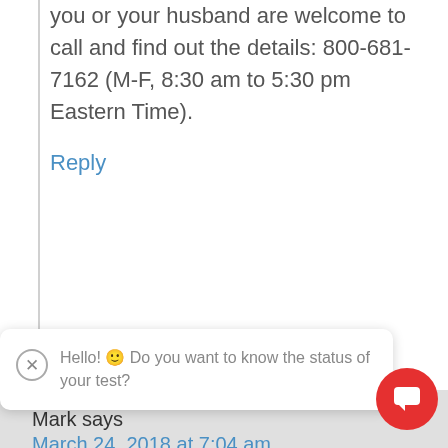you or your husband are welcome to call and find out the details: 800-681-7162 (M-F, 8:30 am to 5:30 pm Eastern Time).
Reply
Mark says
March 24, 2018 at 7:04 am
I have recently found my father through my had the same father, unfortunately my
Hello! 🙂 Do you want to know the status of your test?